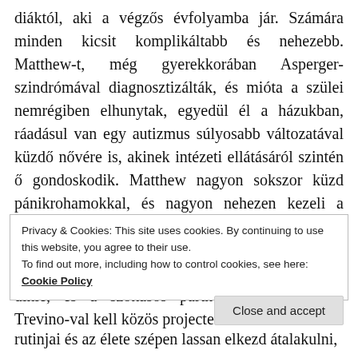diáktól, aki a végzős évfolyamba jár. Számára minden kicsit komplikáltabb és nehezebb. Matthew-t, még gyerekkorában Asperger-szindrómával diagnosztizálták, és mióta a szülei nemrégiben elhunytak, egyedül él a házukban, ráadásul van egy autizmus súlyosabb változatával küzdő nővére is, akinek intézeti ellátásáról szintén ő gondoskodik. Matthew nagyon sokszor küzd pánikrohamokkal, és nagyon nehezen kezeli a változásokat, vagy ha valami nem illeszkedik a megszokott rendszerébe, így amikor Környezettan órán a megszokott helye helyett máshova kell ülnie, és a szokásos partnere helyett Mayra Trevino-val kell közös projectet
Privacy & Cookies: This site uses cookies. By continuing to use this website, you agree to their use.
To find out more, including how to control cookies, see here:
Cookie Policy
Close and accept
rutinjai és az élete szépen lassan elkezd átalakulni,